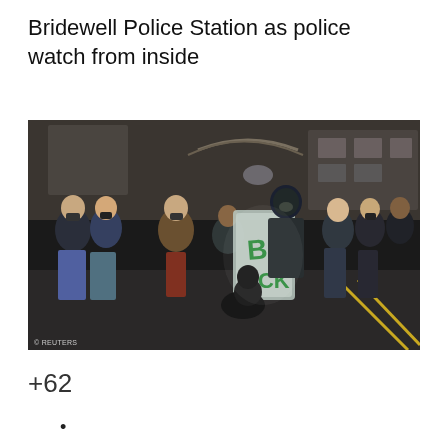Bridewell Police Station as police watch from inside
[Figure (photo): Night-time protest scene outside Bridewell Police Station. A person kneels in front of a riot police officer holding a shield with green graffiti reading 'BLACK'. A crowd of protesters stands around them in the street. Image credit: © REUTERS]
+62
•